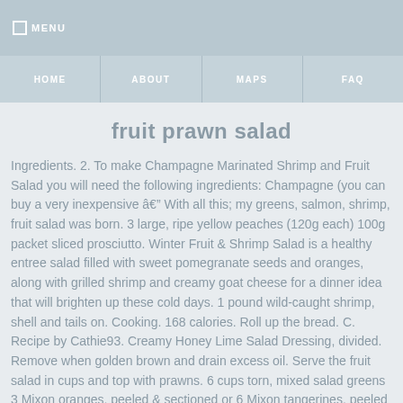MENU
HOME  ABOUT  MAPS  FAQ
fruit prawn salad
Ingredients. 2. To make Champagne Marinated Shrimp and Fruit Salad you will need the following ingredients: Champagne (you can buy a very inexpensive â With all this; my greens, salmon, shrimp, fruit salad was born. 3 large, ripe yellow peaches (120g each) 100g packet sliced prosciutto. Winter Fruit & Shrimp Salad is a healthy entree salad filled with sweet pomegranate seeds and oranges, along with grilled shrimp and creamy goat cheese for a dinner idea that will brighten up these cold days. 1 pound wild-caught shrimp, shell and tails on. Cooking. 168 calories. Roll up the bread. C. Recipe by Cathie93. Creamy Honey Lime Salad Dressing, divided. Remove when golden brown and drain excess oil. Serve the fruit salad in cups and top with prawns. 6 cups torn, mixed salad greens 3 Mixon oranges, peeled & sectioned or 6 Mixon tangerines, peeled & sectioned 1 1/2 cups cubed or sliced, peeled fresh fruit (such as mango, star fruit, kiwi) Directions: In a medium bowl combine cooked shrimp,